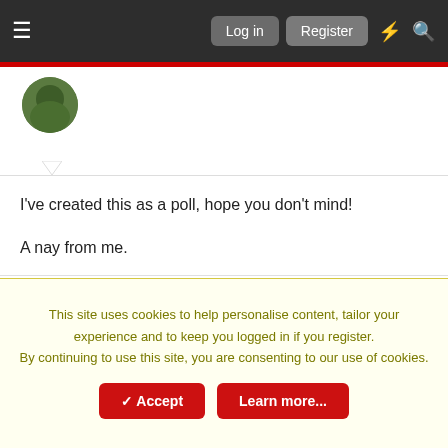Log in | Register
I've created this as a poll, hope you don't mind!

A nay from me.
Apr 9, 2021  #3
Billy The Fish
Well-known Exeweb poster
Not at all.

Nay from me.
This site uses cookies to help personalise content, tailor your experience and to keep you logged in if you register.
By continuing to use this site, you are consenting to our use of cookies.